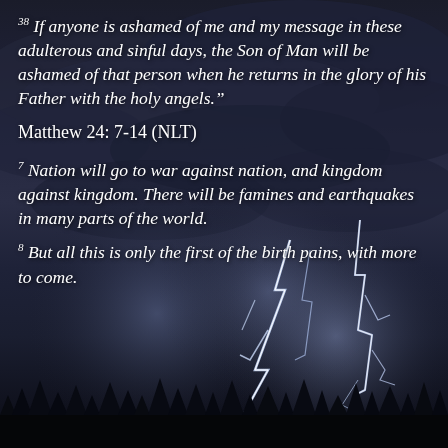[Figure (photo): Dramatic dark stormy sky with lightning bolts striking, silhouette of trees at the bottom, dark blue-gray thunderclouds, bright white-blue lightning strikes in the lower half of the image]
38 If anyone is ashamed of me and my message in these adulterous and sinful days, the Son of Man will be ashamed of that person when he returns in the glory of his Father with the holy angels.”
Matthew 24: 7-14 (NLT)
7 Nation will go to war against nation, and kingdom against kingdom. There will be famines and earthquakes in many parts of the world.
8 But all this is only the first of the birth pains, with more to come.